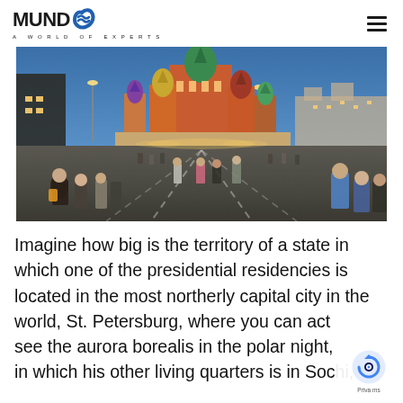MUNDO A WORLD OF EXPERTS
[Figure (photo): Panoramic photo of Red Square in Moscow at dusk, Saint Basil's Cathedral illuminated in the background, crowds of tourists walking on the cobblestone square]
Imagine how big is the territory of a state in which one of the presidential residencies is located in the most northerly capital city in the world, St. Petersburg, where you can actually see the aurora borealis in the polar night, in which his other living quarters is in Sochi,